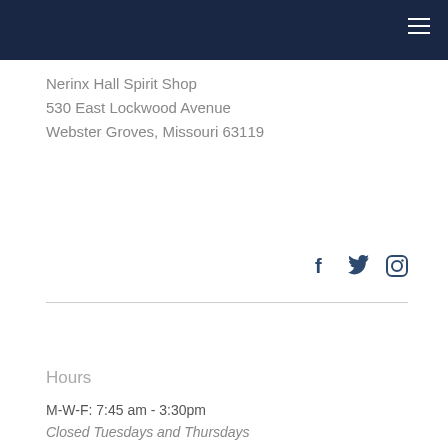Navigation bar with hamburger menu
Nerinx Hall Spirit Shop
530 East Lockwood Avenue
Webster Groves, Missouri 63119
[Figure (other): Social media icons: Facebook, Twitter, Instagram in dark navy blue]
Hours
M-W-F: 7:45 am - 3:30pm
Closed Tuesdays and Thursdays